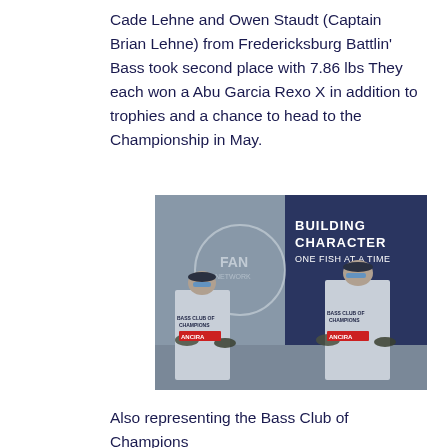Cade Lehne and Owen Staudt (Captain Brian Lehne) from Fredericksburg Battlin' Bass took second place with 7.86 lbs They each won a Abu Garcia Rexo X in addition to trophies and a chance to head to the Championship in May.
[Figure (photo): Two young anglers in Bass Club of Champions jerseys holding bass fish in front of a 'Building Character One Fish at a Time' banner and FAN Network sign.]
Also representing the Bass Club of Champions